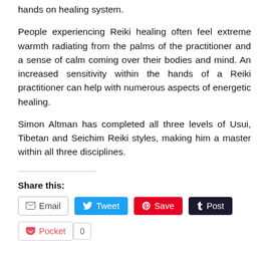hands on healing system.
People experiencing Reiki healing often feel extreme warmth radiating from the palms of the practitioner and a sense of calm coming over their bodies and mind. An increased sensitivity within the hands of a Reiki practitioner can help with numerous aspects of energetic healing.
Simon Altman has completed all three levels of Usui, Tibetan and Seichim Reiki styles, making him a master within all three disciplines.
Share this:
Email | Tweet | Save | Post | Pocket | 0